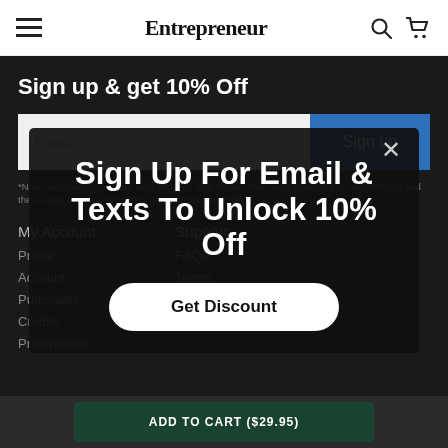Entrepreneur
Sign up & get 10% Off
Email
Sign up
*New customers only. Offer lasts 30 days. See Terms. This site is protected by reCAPTCHA and the Google Privacy Policy and Terms of Service apply.
My Account
Support
Profile
Account
Purchases
Credits
Preferences
FAQs
Terms
Sign Up For Email & Texts To Unlock 10% Off
Get Discount
ADD TO CART ($29.95)